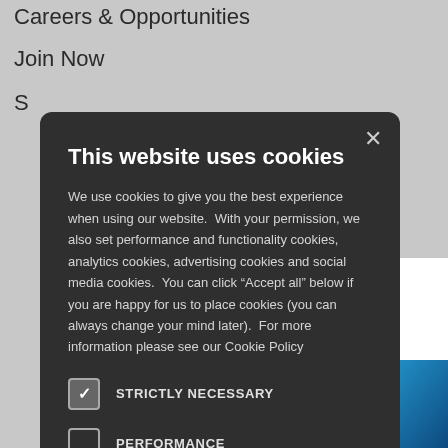Careers & Opportunities
Join Now
S
Follow
h... · 17h
an Principles, e well-being of e generations.
n today 🌊!
c...
This website uses cookies
We use cookies to give you the best experience when using our website.  With your permission, we also set performance and functionality cookies, analytics cookies, advertising cookies and social media cookies.  You can click "Accept all" below if you are happy for us to place cookies (you can always change your mind later).  For more information please see our Cookie Policy
STRICTLY NECESSARY
PERFORMANCE
ANALYTICS
FUNCTIONALITY
SOCIAL MEDIA